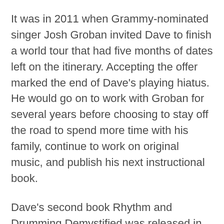It was in 2011 when Grammy-nominated singer Josh Groban invited Dave to finish a world tour that had five months of dates left on the itinerary. Accepting the offer marked the end of Dave's playing hiatus. He would go on to work with Groban for several years before choosing to stay off the road to spend more time with his family, continue to work on original music, and publish his next instructional book.
Dave's second book Rhythm and Drumming Demystified was released in paperback through Alfred Music in 2014, and later, in digital format through Hudson Music. That same year, Dave was asked to put together a band for legendary singer-songwriter Carole King to perform at a fund-raiser for New Hampshire senator Jean Shaheen.
In 2016 Dave founded DiCenso Clark Expedition with Boston-based organist Ken Clark. This soul-funk organ duo saw Dave singing lead from behind the kit for the first